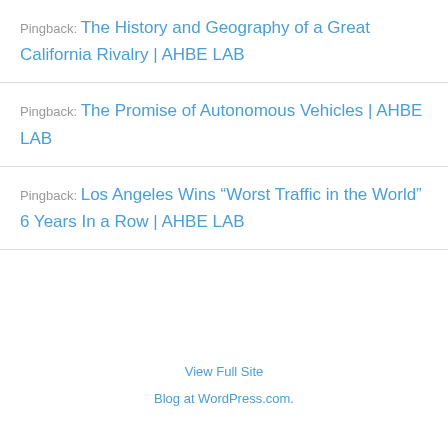Pingback: The History and Geography of a Great California Rivalry | AHBE LAB
Pingback: The Promise of Autonomous Vehicles | AHBE LAB
Pingback: Los Angeles Wins “Worst Traffic in the World” 6 Years In a Row | AHBE LAB
View Full Site
Blog at WordPress.com.